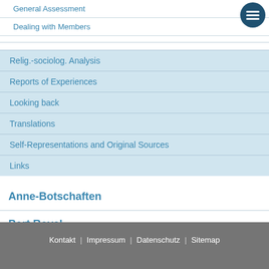General Assessment
Dealing with Members
Relig.-sociolog. Analysis
Reports of Experiences
Looking back
Translations
Self-Representations and Original Sources
Links
Anne-Botschaften
Port Royal
Piusbruderschaft
Kontakt | Impressum | Datenschutz | Sitemap